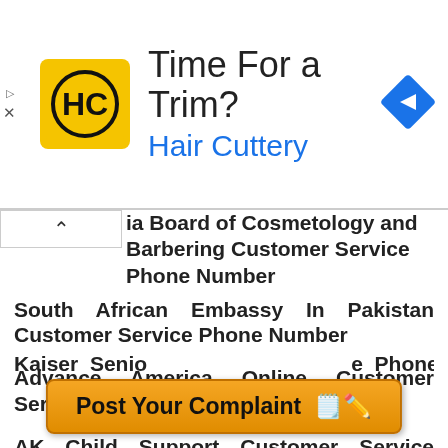[Figure (screenshot): Hair Cuttery advertisement banner with logo, 'Time For a Trim?' text, and navigation icon]
ia Board of Cosmetology and Barbering Customer Service Phone Number
South African Embassy In Pakistan Customer Service Phone Number
Advance America Online Customer Service Phone Number
AK Child Support Customer Service Phone Number
Advance Transformer Customer Service Phone Number
Abuelos Customer Service Phone Number
Advisors Assistant Customer Service Phone Number
Abiquiu Inn Customer Service Phone Number
Kaiser Senio... Customer Service Phone Number
[Figure (other): Post Your Complaint button with pencil/notepad emoji]